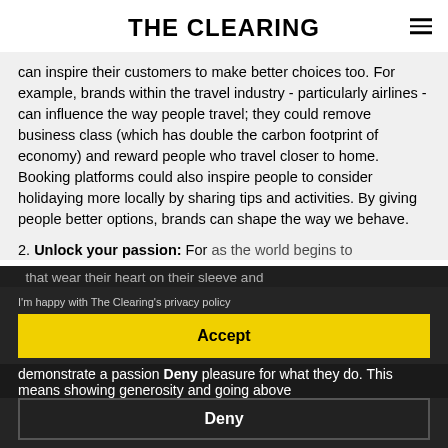THE CLEARING
can inspire their customers to make better choices too. For example, brands within the travel industry - particularly airlines - can influence the way people travel; they could remove business class (which has double the carbon footprint of economy) and reward people who travel closer to home. Booking platforms could also inspire people to consider holidaying more locally by sharing tips and activities. By giving people better options, brands can shape the way we behave.
I'm happy with The Clearing's privacy policy
Accept
that wear their heart on their sleeve and demonstrate a passion pleasure for what they do. This means showing generosity and going above
Deny